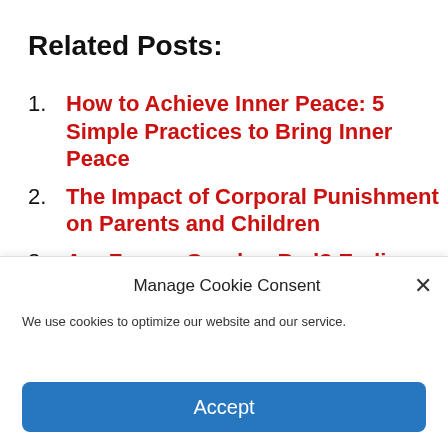Related Posts:
How to Achieve Inner Peace: 5 Simple Practices to Bring Inner Peace
The Impact of Corporal Punishment on Parents and Children
Are Fevers Good or Bad? Ending Fever Phobia
Dr. Sarah's Tips: Natural Allergy
Manage Cookie Consent
We use cookies to optimize our website and our service.
Accept